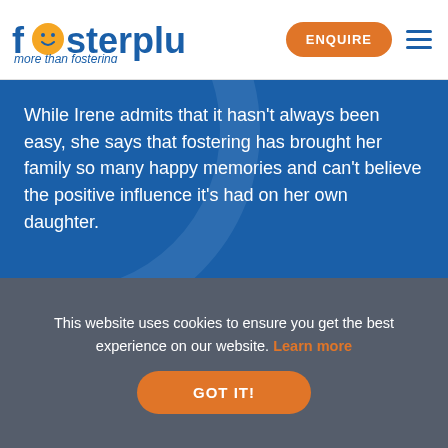[Figure (logo): FosterPlus logo with smiley face in the 'o', text 'fosterplus' in blue and 'more than fostering' tagline in blue italic]
ENQUIRE
While Irene admits that it hasn't always been easy, she says that fostering has brought her family so many happy memories and can't believe the positive influence it's had on her own daughter.
READ MORE
This website uses cookies to ensure you get the best experience on our website. Learn more
GOT IT!